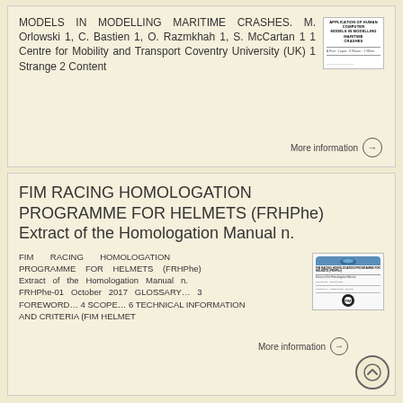MODELS IN MODELLING MARITIME CRASHES. M. Orlowski 1, C. Bastien 1, O. Razmkhah 1, S. McCartan 1 1 Centre for Mobility and Transport Coventry University (UK) 1 Strange 2 Content
More information →
FIM RACING HOMOLOGATION PROGRAMME FOR HELMETS (FRHPhe) Extract of the Homologation Manual n.
FIM RACING HOMOLOGATION PROGRAMME FOR HELMETS (FRHPhe) Extract of the Homologation Manual n. FRHPhe-01 October 2017 GLOSSARY… 3 FOREWORD… 4 SCOPE… 6 TECHNICAL INFORMATION AND CRITERIA (FIM HELMET
More information →